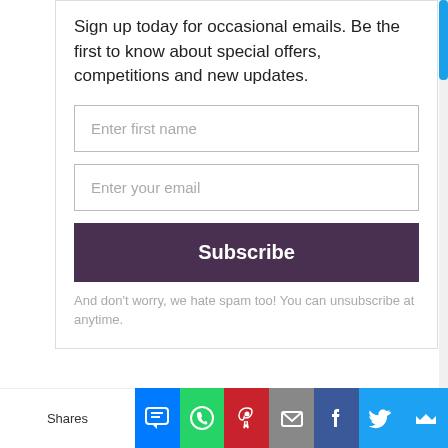Sign up today for occasional emails. Be the first to know about special offers, competitions and new updates.
Enter first name
Enter your email
Subscribe
And don't worry, we hate spam too! You can unsubscribe at anytime.
powered by MailMunch
Related
Shares